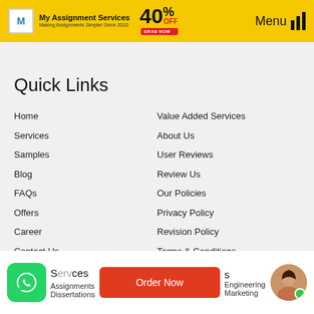My Assignment Services — 40% OFF — GRAB NOW — Menu
Quick Links
Home
Services
Samples
Blog
FAQs
Offers
Career
Contact Us
Value Added Services
About Us
User Reviews
Review Us
Our Policies
Privacy Policy
Revision Policy
Terms & Conditions
Assignments
Dissertations
Order Now
Engineering
Marketing